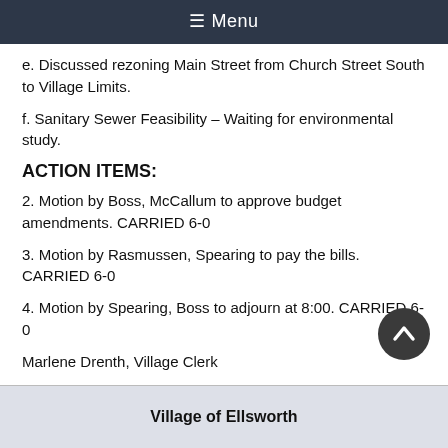≡ Menu
e. Discussed rezoning Main Street from Church Street South to Village Limits.
f. Sanitary Sewer Feasibility – Waiting for environmental study.
ACTION ITEMS:
2. Motion by Boss, McCallum to approve budget amendments. CARRIED 6-0
3. Motion by Rasmussen, Spearing to pay the bills. CARRIED 6-0
4. Motion by Spearing, Boss to adjourn at 8:00. CARRIED 6-0
Marlene Drenth, Village Clerk
Village of Ellsworth